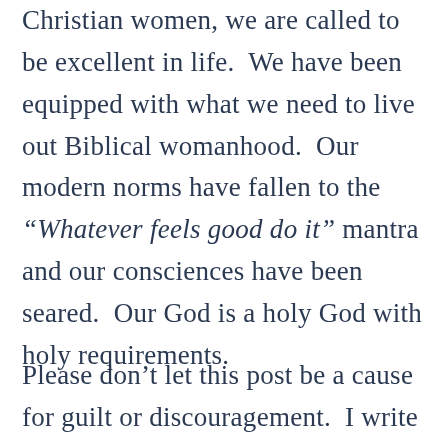Christian women, we are called to be excellent in life.  We have been equipped with what we need to live out Biblical womanhood.  Our modern norms have fallen to the “Whatever feels good do it” mantra and our consciences have been seared.  Our God is a holy God with holy requirements.
Please don’t let this post be a cause for guilt or discouragement.  I write this to myself as well